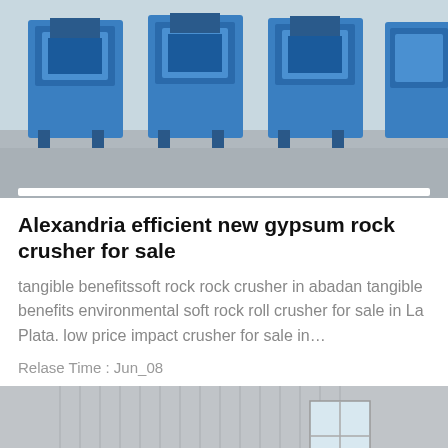[Figure (photo): Blue industrial rock crusher machines (multiple units) lined up on a concrete floor, viewed from above/front angle.]
Alexandria efficient new gypsum rock crusher for sale
tangible benefitssoft rock rock crusher in abadan tangible benefits environmental soft rock roll crusher for sale in La Plata. low price impact crusher for sale in…
Relase Time : Jun_08
[Figure (photo): Industrial machinery in a warehouse: large wheels/rollers with red hubs and black rubber belts, mounted on beige/cream colored metal frames. Corrugated metal wall and windows in background.]